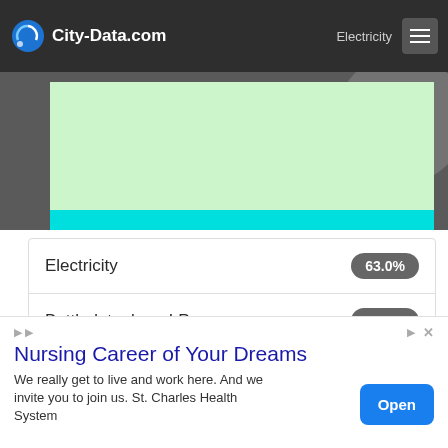City-Data.com
[Figure (other): Partial pie/donut chart showing heating fuel usage, with a green bar area and cyan border, cropped at top of page.]
| Fuel Type | Percentage |
| --- | --- |
| Electricity | 63.0% |
| Bottled, tank, or LP gas | 14.6% |
| Utility gas | 14.6% |
| Wood | 7.4% |
[Figure (infographic): Advertisement: Nursing Career of Your Dreams – We really get to live and work here. And we invite you to join us. St. Charles Health System. Open button.]